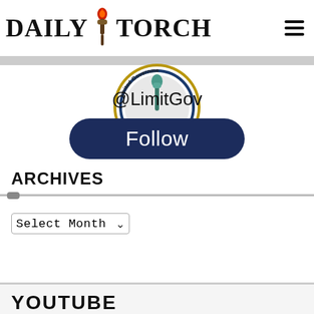DAILY TORCH
[Figure (logo): Limited Government circular seal/badge with torch icon and text 'Limited Government']
@LimitGov
Follow
ARCHIVES
Select Month
YOUTUBE